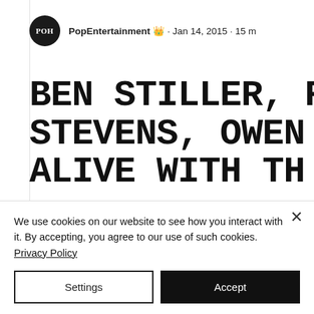PopEntertainment · Jan 14, 2015 · 15 m
BEN STILLER, REBEL WI STEVENS, OWEN WILSON ALIVE WITH TH
Updated: Apr 16, 2020
[Figure (photo): Partial image strip at bottom of article]
We use cookies on our website to see how you interact with it. By accepting, you agree to our use of such cookies. Privacy Policy
Settings
Accept